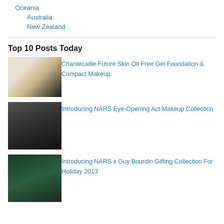Oceania
Australia
New Zealand
Top 10 Posts Today
[Figure (photo): Product and model photo for Chantecaille makeup]
Chantecaille Future Skin Oil Free Gel Foundation & Compact Makeup
[Figure (photo): Model photo for NARS Eye-Opening Act Makeup Collection]
Introducing NARS Eye-Opening Act Makeup Collection
[Figure (photo): Model photo for NARS x Guy Bourdin Gifting Collection]
Introducing NARS x Guy Bourdin Gifting Collection For Holiday 2013